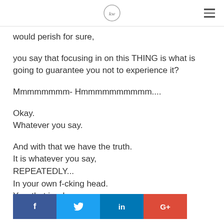[KW logo]
would perish for sure,
you say that focusing in on this THING is what is going to guarantee you not to experience it?
Mmmmmmmm- Hmmmmmmmmmm....
Okay.
Whatever you say.
And with that we have the truth.
It is whatever you say,
REPEATEDLY...
In your own f-cking head.
Yes, that is wh
[Figure (other): Social share bar with Facebook, Twitter, LinkedIn, Google+ buttons]